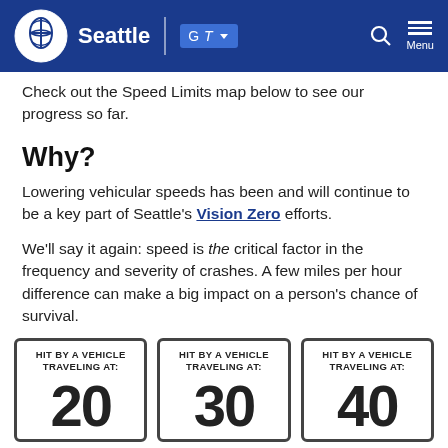Seattle
Check out the Speed Limits map below to see our progress so far.
Why?
Lowering vehicular speeds has been and will continue to be a key part of Seattle's Vision Zero efforts.
We'll say it again: speed is the critical factor in the frequency and severity of crashes. A few miles per hour difference can make a big impact on a person's chance of survival.
[Figure (infographic): Three speed sign cards showing vehicles traveling at 20, 30, and 40 mph]
HIT BY A VEHICLE TRAVELING AT: 20 | HIT BY A VEHICLE TRAVELING AT: 30 | HIT BY A VEHICLE TRAVELING AT: 40